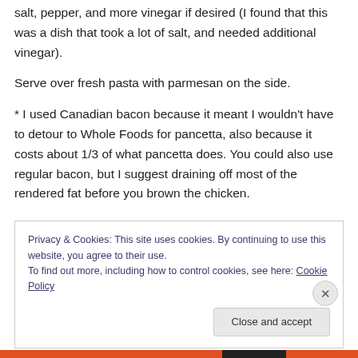salt, pepper, and more vinegar if desired (I found that this was a dish that took a lot of salt, and needed additional vinegar).
Serve over fresh pasta with parmesan on the side.
* I used Canadian bacon because it meant I wouldn't have to detour to Whole Foods for pancetta, also because it costs about 1/3 of what pancetta does. You could also use regular bacon, but I suggest draining off most of the rendered fat before you brown the chicken.
Privacy & Cookies: This site uses cookies. By continuing to use this website, you agree to their use.
To find out more, including how to control cookies, see here: Cookie Policy
Close and accept